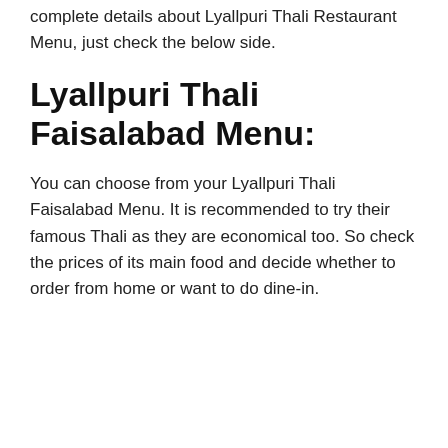complete details about Lyallpuri Thali Restaurant Menu, just check the below side.
Lyallpuri Thali Faisalabad Menu:
You can choose from your Lyallpuri Thali Faisalabad Menu. It is recommended to try their famous Thali as they are economical too. So check the prices of its main food and decide whether to order from home or want to do dine-in.